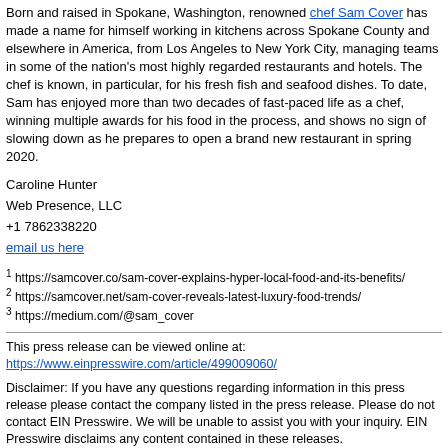Born and raised in Spokane, Washington, renowned chef Sam Cover has made a name for himself working in kitchens across Spokane County and elsewhere in America, from Los Angeles to New York City, managing teams in some of the nation's most highly regarded restaurants and hotels. The chef is known, in particular, for his fresh fish and seafood dishes. To date, Sam has enjoyed more than two decades of fast-paced life as a chef, winning multiple awards for his food in the process, and shows no sign of slowing down as he prepares to open a brand new restaurant in spring 2020.
Caroline Hunter
Web Presence, LLC
+1 7862338220
email us here
1 https://samcover.co/sam-cover-explains-hyper-local-food-and-its-benefits/
2 https://samcover.net/sam-cover-reveals-latest-luxury-food-trends/
3 https://medium.com/@sam_cover
This press release can be viewed online at:
https://www.einpresswire.com/article/499009060/

Disclaimer: If you have any questions regarding information in this press release please contact the company listed in the press release. Please do not contact EIN Presswire. We will be unable to assist you with your inquiry. EIN Presswire disclaims any content contained in these releases.

© 1995-2022 Newsmatics Inc. All Right Reserved.